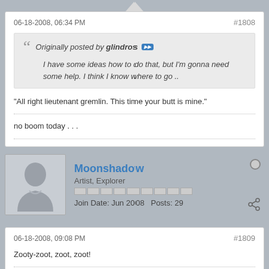06-18-2008, 06:34 PM
#1808
Originally posted by glindros
I have some ideas how to do that, but I'm gonna need some help. I think I know where to go ..
"All right lieutenant gremlin. This time your butt is mine."
no boom today . . .
Moonshadow
Artist, Explorer
Join Date: Jun 2008   Posts: 29
06-18-2008, 09:08 PM
#1809
Zooty-zoot, zoot, zoot!
"Be wary of strong drink. It can make you shoot at tax collectors... and miss."